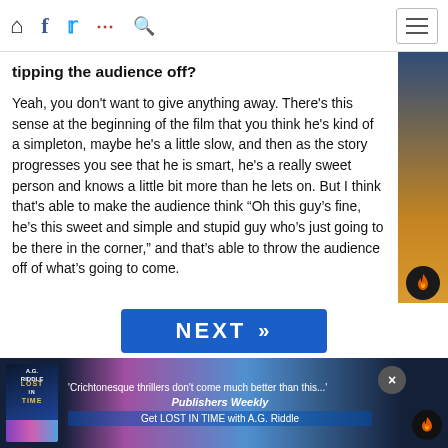Navigation bar with home, facebook, twitter, more, search icons and hamburger menu
tipping the audience off?
Yeah, you don't want to give anything away. There's this sense at the beginning of the film that you think he's kind of a simpleton, maybe he's a little slow, and then as the story progresses you see that he is smart, he's a really sweet person and knows a little bit more than he lets on. But I think that's able to make the audience think “Oh this guy’s fine, he’s this sweet and simple and stupid guy who’s just going to be there in the corner,” and that’s able to throw the audience off of what’s going to come.
[Figure (other): NEXT button with double right chevrons on blue background]
[Figure (other): Advertisement banner for 'Lost in Time' by A.G. Riddle with quote from Publishers Weekly: 'Crichtonesque thrillers don't come much better than this...']